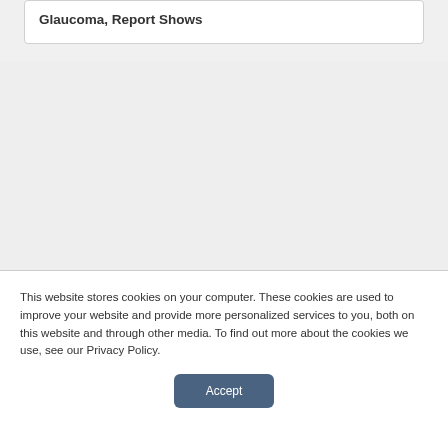Glaucoma, Report Shows
This website stores cookies on your computer. These cookies are used to improve your website and provide more personalized services to you, both on this website and through other media. To find out more about the cookies we use, see our Privacy Policy.
Accept